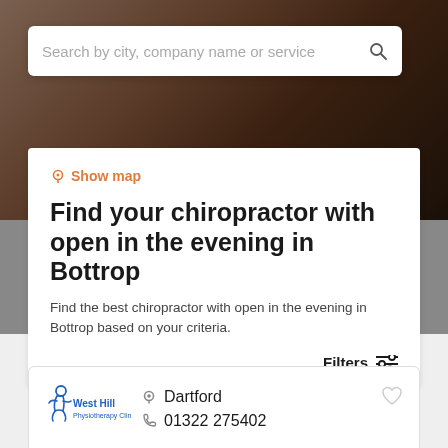[Figure (screenshot): Hero background photo showing a person receiving chiropractic or physiotherapy treatment, dark warm tones]
Search by city, company name or service
Show map
Find your chiropractor with open in the evening in Bottrop
Find the best chiropractor with open in the evening in Bottrop based on your criteria.
Filters
[Figure (logo): West Hill Physiotherapy Clinic logo — blue running figure with West Hill text]
Dartford
01322 275402